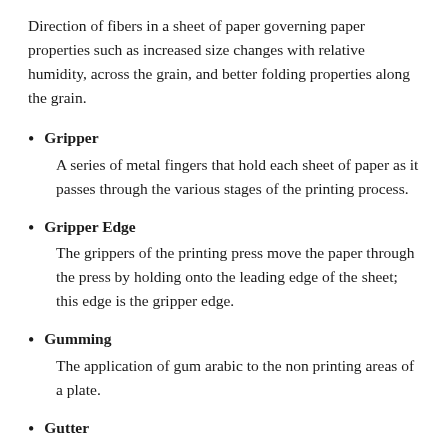Direction of fibers in a sheet of paper governing paper properties such as increased size changes with relative humidity, across the grain, and better folding properties along the grain.
Gripper
A series of metal fingers that hold each sheet of paper as it passes through the various stages of the printing process.
Gripper Edge
The grippers of the printing press move the paper through the press by holding onto the leading edge of the sheet; this edge is the gripper edge.
Gumming
The application of gum arabic to the non printing areas of a plate.
Gutter